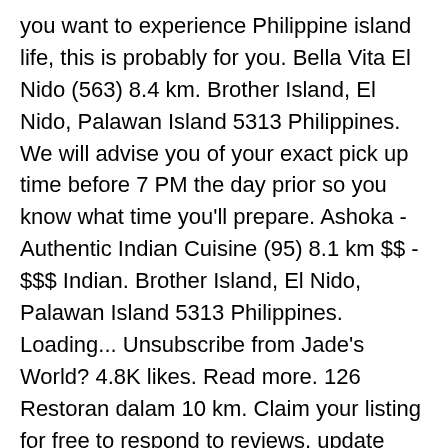you want to experience Philippine island life, this is probably for you. Bella Vita El Nido (563) 8.4 km. Brother Island, El Nido, Palawan Island 5313 Philippines. We will advise you of your exact pick up time before 7 PM the day prior so you know what time you'll prepare. Ashoka - Authentic Indian Cuisine (95) 8.1 km $$ - $$$ Indian. Brother Island, El Nido, Palawan Island 5313 Philippines. Loading... Unsubscribe from Jade's World? 4.8K likes. Read more. 126 Restoran dalam 10 km. Claim your listing for free to respond to reviews, update your profile and much more. Tripadvisor Plus Subscription Terms & Conditions, Hotels with Complimentary Breakfast in Palawan Island, Hotels with Infinity Pool in Palawan Island, 22 of